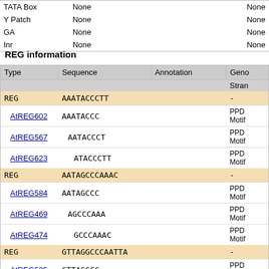|  |  |  |  |
| --- | --- | --- | --- |
| TATA Box | None |  | None |
| Y Patch | None |  | None |
| GA | None |  | None |
| Inr | None |  | None |
REG information
| Type | Sequence | Annotation | Geno
Stran |
| --- | --- | --- | --- |
| REG | AAATACCCTT |  | - |
| AtREG602 | AAATACCC |  | PPD
Motif |
| AtREG567 | AATACCCT |  | PPD
Motif |
| AtREG623 | ATACCCTT |  | PPD
Motif |
| REG | AATAGCCCAAAC |  | - |
| AtREG584 | AATAGCCC |  | PPD
Motif |
| AtREG469 | AGCCCAAA |  | PPD
Motif |
| AtREG474 | GCCCAAAC |  | PPD
Motif |
| REG | GTTAGGCCCAATTA |  | - |
| AtREG535 | GTTAGGCC |  | PPD
Motif |
|  | TTAGGCCC |  | PPD |